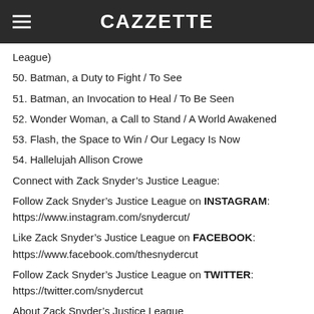CAZZETTE
League)
50. Batman, a Duty to Fight / To See
51. Batman, an Invocation to Heal / To Be Seen
52. Wonder Woman, a Call to Stand / A World Awakened
53. Flash, the Space to Win / Our Legacy Is Now
54. Hallelujah Allison Crowe
Connect with Zack Snyder’s Justice League:
Follow Zack Snyder’s Justice League on INSTAGRAM:
https://www.instagram.com/snydercut/
Like Zack Snyder’s Justice League on FACEBOOK:
https://www.facebook.com/thesnydercut
Follow Zack Snyder’s Justice League on TWITTER:
https://twitter.com/snydercut
About Zack Snyder’s Justice League
In Zack Snyder’s Justice League, determined to ensure